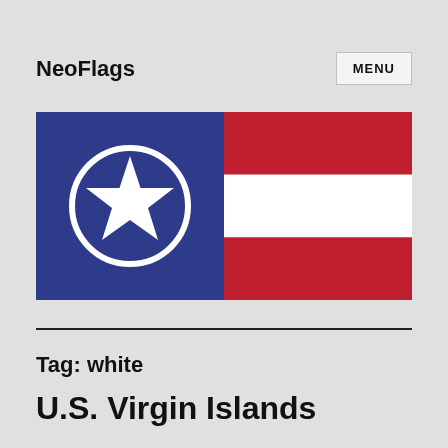NeoFlags
MENU
[Figure (illustration): Flag of U.S. Virgin Islands: left half is solid dark blue with a white circle containing a white five-pointed star; right half has three horizontal stripes: red on top, white in middle, red on bottom.]
Tag: white
U.S. Virgin Islands